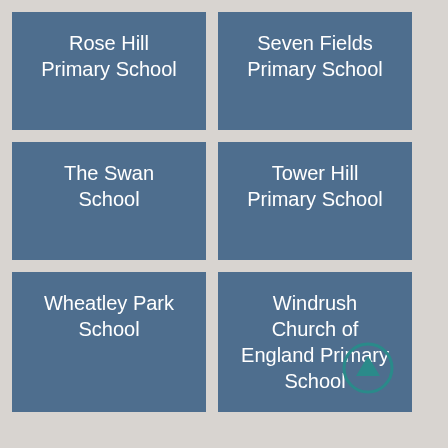[Figure (infographic): Grid of 6 school name tiles on a grey background. Each tile is a steel-blue rectangle with white text naming a school.]
Rose Hill Primary School
Seven Fields Primary School
The Swan School
Tower Hill Primary School
Wheatley Park School
Windrush Church of England Primary School